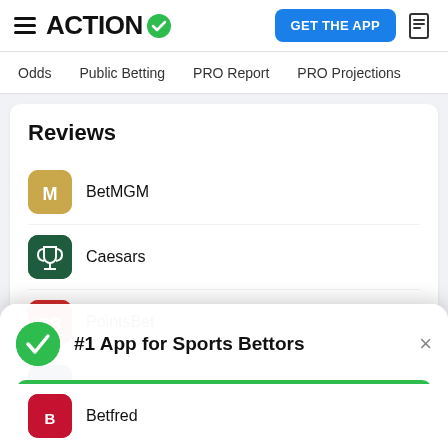ACTION (logo with checkmark) | GET THE APP
Odds | Public Betting | PRO Report | PRO Projections
Reviews
BetMGM
Caesars
PointsBet
WynnBET
#1 App for Sports Bettors
GET FREE APP
Betfred